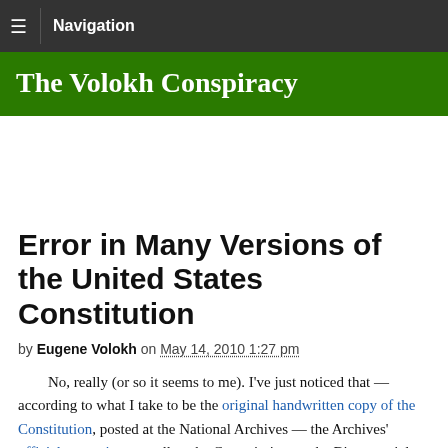Navigation
The Volokh Conspiracy
Error in Many Versions of the United States Constitution
by Eugene Volokh on May 14, 2010 1:27 pm
No, really (or so it seems to me). I've just noticed that — according to what I take to be the original handwritten copy of the Constitution, posted at the National Archives — the Archives' official transcript, as well as the Commission on the Bicentennial, Cato, and Heritage pocket reprints, include a